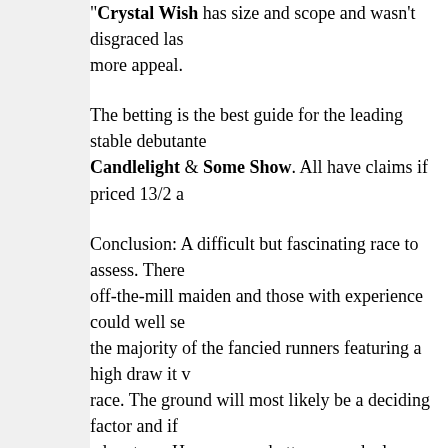"Crystal Wish has size and scope and wasn't disgraced last time and has more appeal.
The betting is the best guide for the leading stable debutantes Candlelight & Some Show. All have claims if priced 13/2 a
Conclusion: A difficult but fascinating race to assess. There off-the-mill maiden and those with experience could well se the majority of the fancied runners featuring a high draw it v race. The ground will most likely be a deciding factor and if advantage. However, on better ground a lower draw could s Alert is likely to be fancied in the betting and this drop back problem. However, I would have slight concerns she could s compounded from a high draw, especially if they race down really need a price to consider betting. Artfilly is a professio most proven in this field over the distance. Emirates Challer on debut. If fancied in teh betting she could well put that dis claims. Carrot Top is likely to improve a good deal for that connections. May be worth a speculative punt if big odds ar is another who could go well if fancied in the betting. With a be a difficult race to find the winner. I would take a watchin